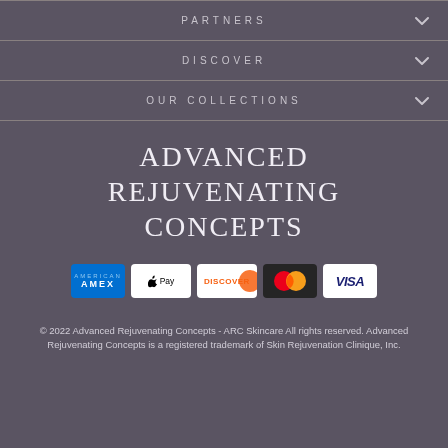PARTNERS
DISCOVER
OUR COLLECTIONS
ADVANCED REJUVENATING CONCEPTS
[Figure (logo): Payment method logos: American Express, Apple Pay, Discover, Mastercard, Visa]
© 2022 Advanced Rejuvenating Concepts - ARC Skincare All rights reserved. Advanced Rejuvenating Concepts is a registered trademark of Skin Rejuvenation Clinique, Inc.